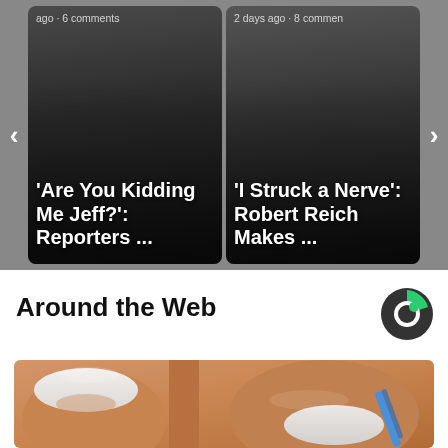[Figure (screenshot): News carousel card: 'Are You Kidding Me Jeff?': Reporters ... ago · 6 comments]
[Figure (screenshot): News carousel card: 'I Struck a Nerve': Robert Reich Makes ... 2 days ago · 8 comments]
Around the Web
[Figure (logo): Taboola logo - circular icon with green and dark grey]
[Figure (illustration): Medical illustration of toenails/toes, showing nail trimming or treatment]